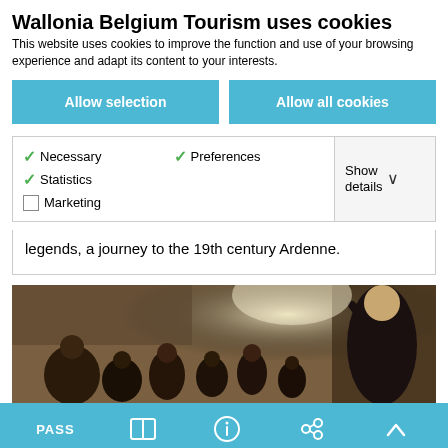Wallonia Belgium Tourism uses cookies
This website uses cookies to improve the function and use of your browsing experience and adapt its content to your interests.
Allow selection
Allow all cookies
Necessary  Preferences  Statistics  Marketing  Show details
legends, a journey to the 19th century Ardenne.
[Figure (photo): Group of children gathered around an adult teacher or storyteller in a rustic indoor setting]
PASS